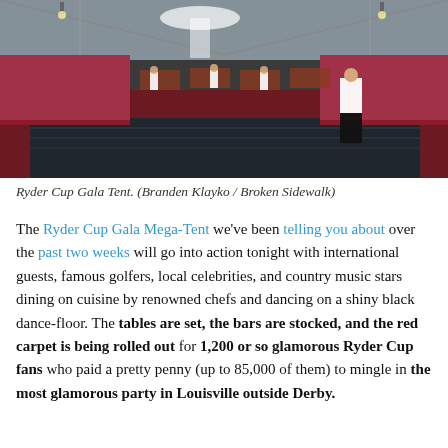[Figure (photo): Interior of the Ryder Cup Gala Tent showing a large marquee with red carpet floors, a shiny black dance floor in the foreground, white-jacketed staff setting up tables, floral decorations on the walls, and a transparent roof letting in daylight.]
Ryder Cup Gala Tent. (Branden Klayko / Broken Sidewalk)
The Ryder Cup Gala Mega-Tent we've been telling you about over the past two weeks will go into action tonight with international guests, famous golfers, local celebrities, and country music stars dining on cuisine by renowned chefs and dancing on a shiny black dance-floor. The tables are set, the bars are stocked, and the red carpet is being rolled out for 1,200 or so glamorous Ryder Cup fans who paid a pretty penny (up to 85,000 of them) to mingle in the most glamorous party in Louisville outside Derby.